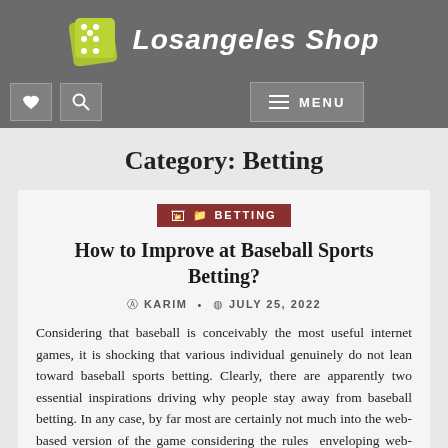Losangeles Shop
Category: Betting
BETTING
How to Improve at Baseball Sports Betting?
KARIM • JULY 25, 2022
Considering that baseball is conceivably the most useful internet games, it is shocking that various individual genuinely do not lean toward baseball sports betting. Clearly, there are apparently two essential inspirations driving why people stay away from baseball betting. In any case, by far most are certainly not much into the web-based version of the game considering the rules enveloping web-based baseball sports betting. Second, numerous people essentially do not cultivate the taste to learn about pitchers or gatherings. These are